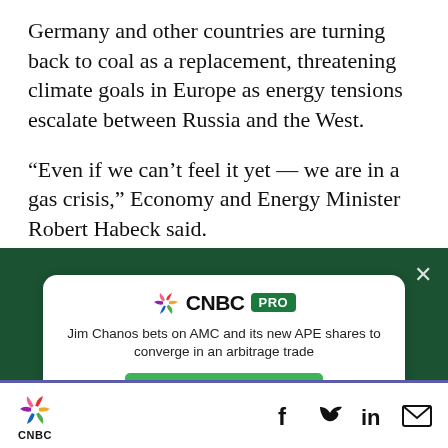Germany and other countries are turning back to coal as a replacement, threatening climate goals in Europe as energy tensions escalate between Russia and the West.
“Even if we can’t feel it yet — we are in a gas crisis,” Economy and Energy Minister Robert Habeck said.
[Figure (infographic): CNBC PRO advertisement card on dark green background. Headline: 'Jim Chanos bets on AMC and its new APE shares to converge in an arbitrage trade'. Subscribe Now button.]